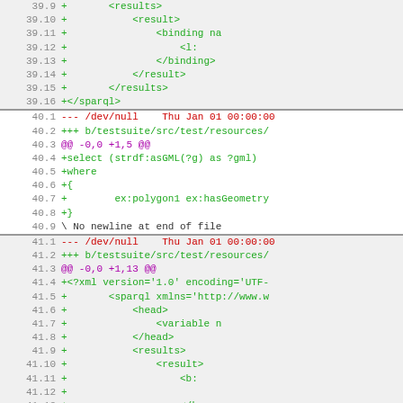Diff code listing showing lines 39.9–41.14 of a source file diff with additions in green, removals in red, and diff headers in purple.